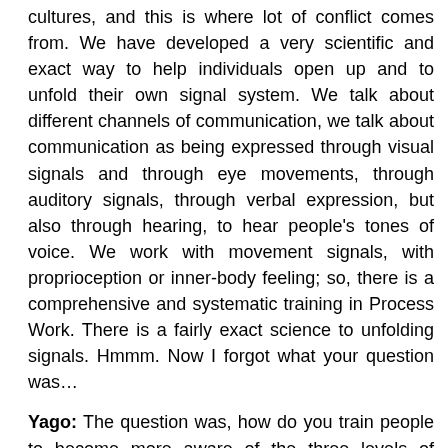cultures, and this is where lot of conflict comes from. We have developed a very scientific and exact way to help individuals open up and to unfold their own signal system. We talk about different channels of communication, we talk about communication as being expressed through visual signals and through eye movements, through auditory signals, through verbal expression, but also through hearing, to hear people's tones of voice. We work with movement signals, with proprioception or inner-body feeling; so, there is a comprehensive and systematic training in Process Work. There is a fairly exact science to unfolding signals. Hmmm. Now I forgot what your question was…
Yago: The question was, how do you train people to become more aware of the three levels of awareness/reality?
Jan: It is very hard to say in a nutshell how we train